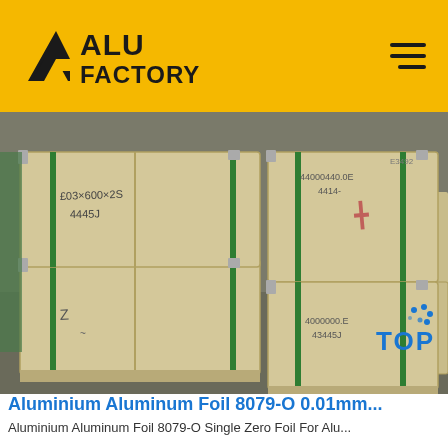ALU FACTORY
[Figure (photo): Warehouse photo showing wooden crates/pallets stacked with handwritten labels in Chinese characters, secured with green straps, in an industrial storage facility.]
Aluminium Aluminum Foil 8079-O 0.01mm...
Aluminium Aluminum Foil 8079-O Single Zero Foil For Alu...